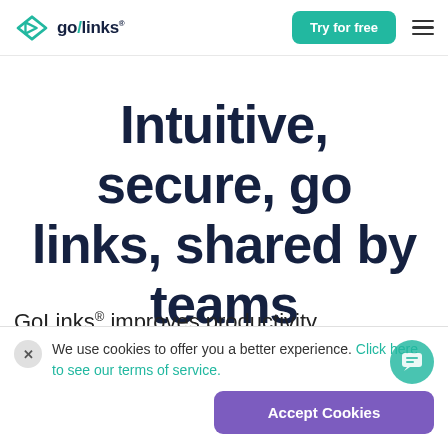[Figure (logo): GoLinks logo with diamond/arrow icon and 'go/links' wordmark]
Try for free
Intuitive, secure, go links, shared by teams
GoLinks® improves productivity by helping teams find and share
We use cookies to offer you a better experience. Click here to see our terms of service.
Accept Cookies